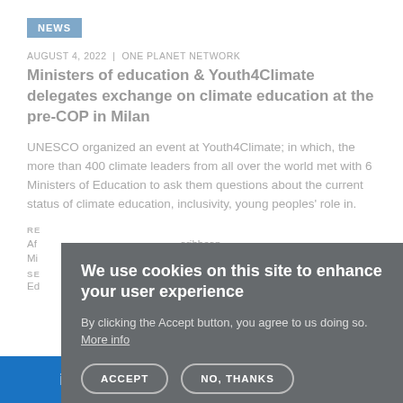NEWS
AUGUST 4, 2022 | ONE PLANET NETWORK
Ministers of education & Youth4Climate delegates exchange on climate education at the pre-COP in Milan
UNESCO organized an event at Youth4Climate; in which, the more than 400 climate leaders from all over the world met with 6 Ministers of Education to ask them questions about the current status of climate education, inclusivity, young peoples' role in.
We use cookies on this site to enhance your user experience
By clicking the Accept button, you agree to us doing so. More info
ACCEPT  NO, THANKS
in  [twitter]  f